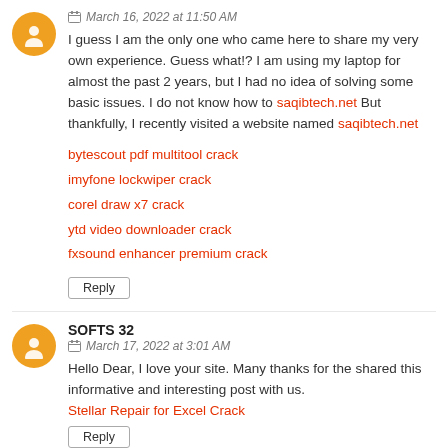March 16, 2022 at 11:50 AM
I guess I am the only one who came here to share my very own experience. Guess what!? I am using my laptop for almost the past 2 years, but I had no idea of solving some basic issues. I do not know how to saqibtech.net But thankfully, I recently visited a website named saqibtech.net
bytescout pdf multitool crack
imyfone lockwiper crack
corel draw x7 crack
ytd video downloader crack
fxsound enhancer premium crack
Reply
SOFTS 32
March 17, 2022 at 3:01 AM
Hello Dear, I love your site. Many thanks for the shared this informative and interesting post with us. Stellar Repair for Excel Crack
Reply
DOWNLOAD FREE SOFTWERE